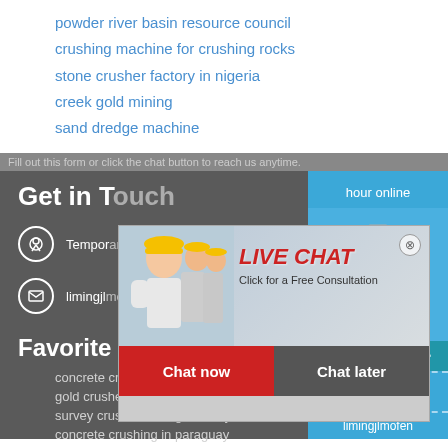powder river basin resource council
crushing machine for crushing rocks
stone crusher factory in nigeria
creek gold mining
sand dredge machine
Get in T...  hour online
Tempora...
limingjl...
Favorite product
concrete crushers spares
gold crusher in south africa crusher
survey crusher mining industry
concrete crushing in paraguay
rock crusher equipment sales
[Figure (screenshot): Live chat popup with workers in hard hats, LIVE CHAT title in red italic, 'Click for a Free Consultation' text, Chat now (red) and Chat later (dark) buttons]
[Figure (photo): Cone crusher machine image in blue sidebar]
Click me to chat>>
Enquiry
limingjlmofen